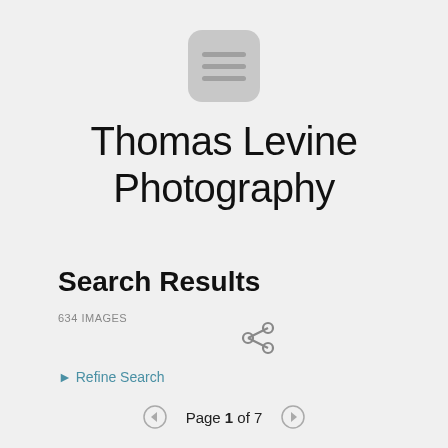[Figure (logo): Rounded square menu icon with three horizontal lines, gray color]
Thomas Levine Photography
Search Results
634 IMAGES
[Figure (illustration): Share icon (less-than symbol style share arrow), gray color]
▶ Refine Search
Page 1 of 7